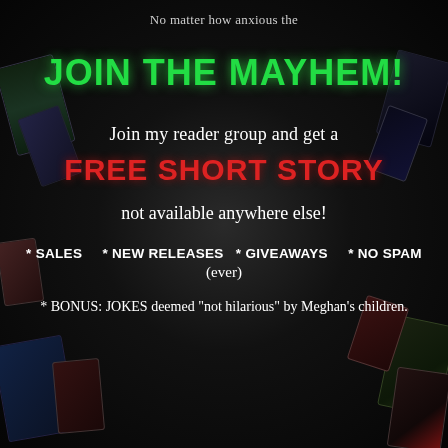No matter how anxious the
JOIN THE MAYHEM!
Join my reader group and get a
FREE SHORT STORY
not available anywhere else!
* SALES    * NEW RELEASES  * GIVEAWAYS    * NO SPAM
(ever)
* BONUS: JOKES deemed "not hilarious" by Meghan's children.